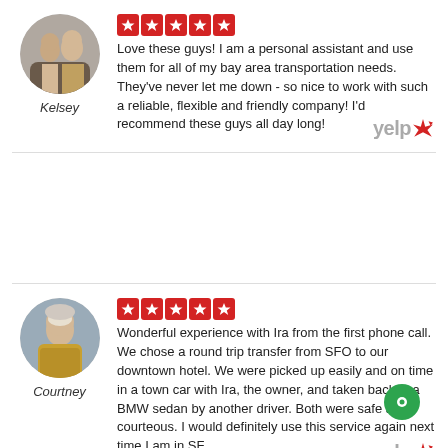[Figure (photo): Round profile photo of Kelsey, showing a man and woman together]
Kelsey
[Figure (other): Five red star rating boxes]
Love these guys! I am a personal assistant and use them for all of my bay area transportation needs. They've never let me down - so nice to work with such a reliable, flexible and friendly company! I'd recommend these guys all day long!
[Figure (logo): Yelp logo in red and grey]
[Figure (photo): Round profile photo of Courtney, showing a woman in leopard print jacket]
Courtney
[Figure (other): Five red star rating boxes]
Wonderful experience with Ira from the first phone call. We chose a round trip transfer from SFO to our downtown hotel. We were picked up easily and on time in a town car with Ira, the owner, and taken back in a BMW sedan by another driver. Both were safe and courteous. I would definitely use this service again next time I am in SF.
[Figure (logo): Yelp logo in red and grey]
[Figure (other): Green circular chat button]